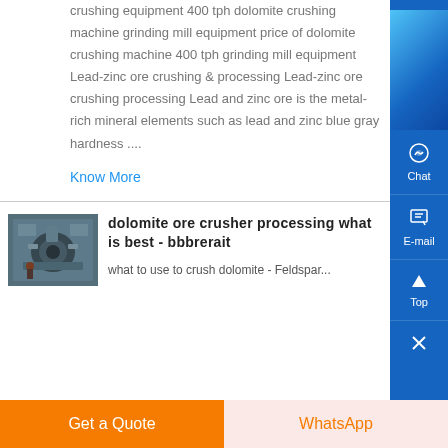crushing equipment 400 tph dolomite crushing machine grinding mill equipment price of dolomite crushing machine 400 tph grinding mill equipment Lead-zinc ore crushing & processing Lead-zinc ore crushing processing Lead and zinc ore is the metal-rich mineral elements such as lead and zinc blue gray hardness ....
Know More
[Figure (photo): Industrial machinery/crusher equipment photo]
dolomite ore crusher processing what is best - bbbrerait
what to use to crush dolomite - Feldspar...
Get a Quote
WhatsApp